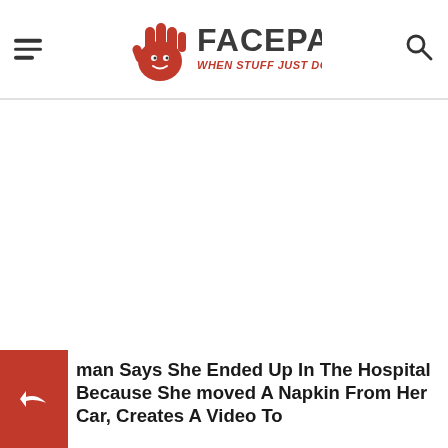FACEPALM — WHEN STUFF JUST DON'T CUT IT!
[Figure (other): White blank content area below the header, representing an advertisement or empty space]
man Says She Ended Up In The Hospital Because She moved A Napkin From Her Car, Creates A Video To